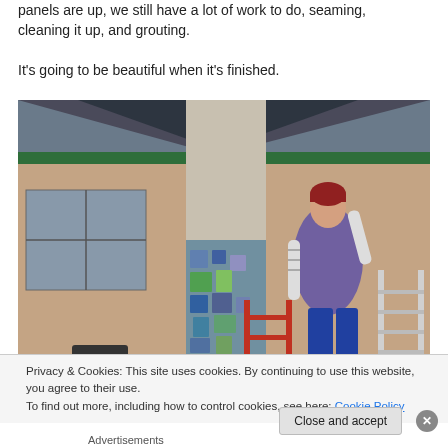panels are up, we still have a lot of work to do, seaming, cleaning it up, and grouting.
It's going to be beautiful when it's finished.
[Figure (photo): Person in a purple vest and red beanie working on a mosaic column at a building exterior, standing on a ladder, applying material to the upper portion of the column which has a colourful mosaic design on the lower half. Background shows a brick building with large windows and a green-trimmed roof structure.]
Privacy & Cookies: This site uses cookies. By continuing to use this website, you agree to their use.
To find out more, including how to control cookies, see here: Cookie Policy
Close and accept
Advertisements